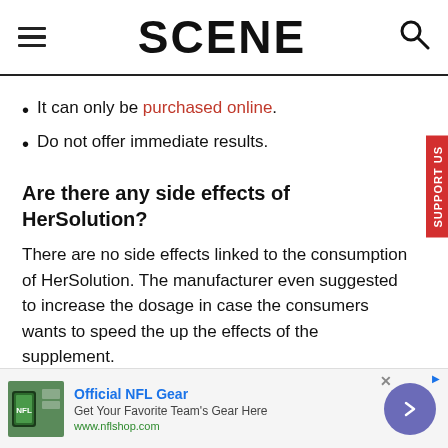SCENE
It can only be purchased online.
Do not offer immediate results.
Are there any side effects of HerSolution?
There are no side effects linked to the consumption of HerSolution. The manufacturer even suggested to increase the dosage in case the consumers wants to speed the up the effects of the supplement.
The consumption is only advised to be discussed with the
[Figure (other): Advertisement banner for Official NFL Gear with team jersey image, blue title text, and circular arrow button]